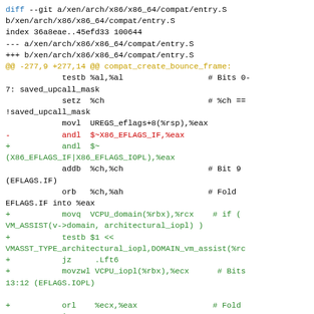[Figure (screenshot): Git diff output showing changes to xen/arch/x86/x86_64/compat/entry.S, adding IOPL-related assembly instructions]